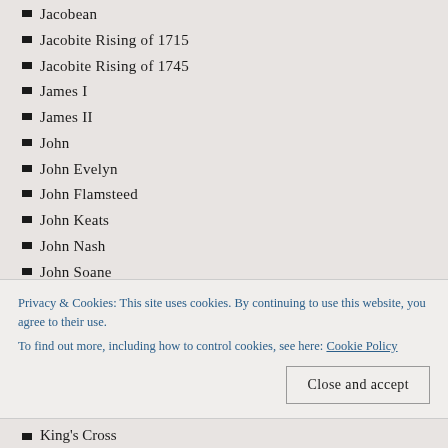Jacobean
Jacobite Rising of 1715
Jacobite Rising of 1745
James I
James II
John
John Evelyn
John Flamsteed
John Keats
John Nash
John Soane
John Wesley
Joseph Bazalgette
Kennington
Kensal Green
Privacy & Cookies: This site uses cookies. By continuing to use this website, you agree to their use.
To find out more, including how to control cookies, see here: Cookie Policy
King's Cross